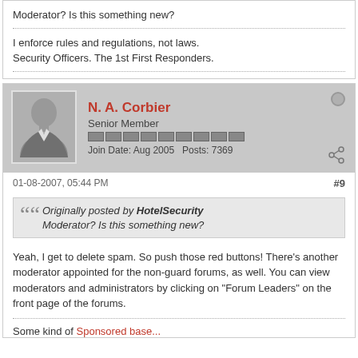Moderator? Is this something new?
I enforce rules and regulations, not laws.
Security Officers. The 1st First Responders.
N. A. Corbier
Senior Member
Join Date: Aug 2005  Posts: 7369
01-08-2007, 05:44 PM  #9
Originally posted by HotelSecurity
Moderator? Is this something new?
Yeah, I get to delete spam. So push those red buttons! There's another moderator appointed for the non-guard forums, as well. You can view moderators and administrators by clicking on "Forum Leaders" on the front page of the forums.
Some kind of Sponsored base...